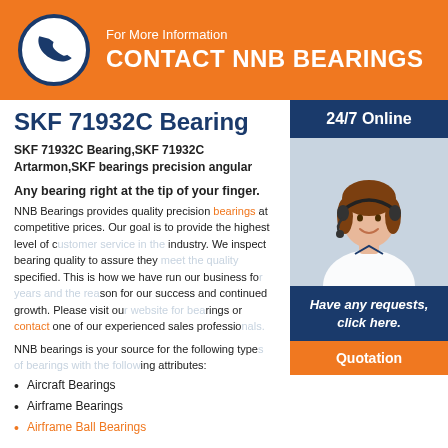For More Information CONTACT NNB BEARINGS
SKF 71932C Bearing
SKF 71932C Bearing,SKF 71932C Artarmon,SKF bearings precision angular
24/7 Online
Any bearing right at the tip of your finger.
NNB Bearings provides quality precision bearings at competitive prices. Our goal is to provide the highest level of customer service in the industry. We inspect bearing quality to assure they meet the quality specified. This is how we have run our business for years and the reason for our success and continued growth. Please visit our website for bearings or contact one of our experienced sales professionals.
[Figure (photo): Customer service agent woman with headset smiling]
Have any requests, click here.
Quotation
NNB bearings is your source for the following types of bearings with the following bearing attributes:
Aircraft Bearings
Airframe Bearings
Airframe Ball Bearings